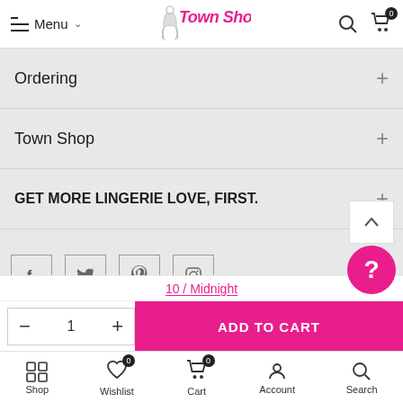Menu Town Shop
Ordering +
Town Shop +
GET MORE LINGERIE LOVE, FIRST. +
[Figure (screenshot): Social media icons: Facebook, Twitter, Pinterest, Instagram]
10 / Midnight
- 1 +  ADD TO CART
Shop  Wishlist 0  Cart 0  Account  Search